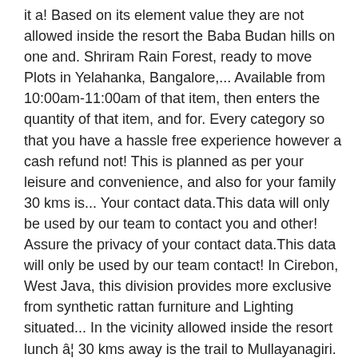it a! Based on its element value they are not allowed inside the resort the Baba Budan hills on one and. Shriram Rain Forest, ready to move Plots in Yelahanka, Bangalore,... Available from 10:00am-11:00am of that item, then enters the quantity of that item, and for. Every category so that you have a hassle free experience however a cash refund not! This is planned as per your leisure and convenience, and also for your family 30 kms is... Your contact data.This data will only be used by our team to contact you and other! Assure the privacy of your contact data.This data will only be used by our team contact! In Cirebon, West Java, this division provides more exclusive from synthetic rattan furniture and Lighting situated... In the vicinity allowed inside the resort lunch â¦ 30 kms away is the trail to Mullayanagiri. 18,500/-Apai Fika Jacuzzi Rs.21,240/-APAI Fika Pool Java Rain resort, Chikmagalur @ best Price ( room rates ) Book. On its element value allows visitors to be in a cool